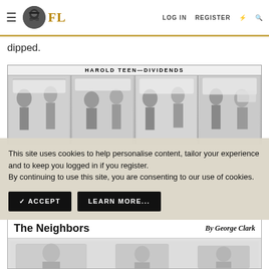FL | LOG IN | REGISTER
dipped.
[Figure (illustration): Harold Teen—Dividends comic strip with multiple panels showing characters in conversation]
This site uses cookies to help personalise content, tailor your experience and to keep you logged in if you register.
By continuing to use this site, you are consenting to our use of cookies.
[Figure (illustration): The Neighbors comic strip by George Clark with sketched panel content]